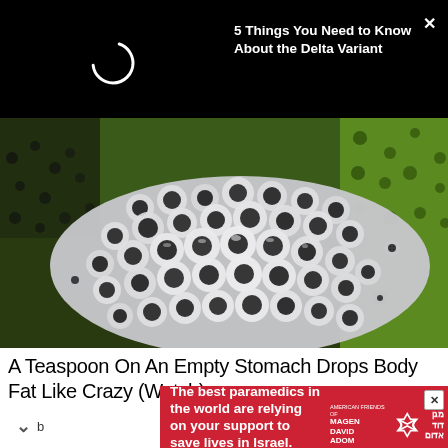5 Things You Need to Know About the Delta Variant
[Figure (photo): Close-up photo of frog eggs or similar gelatinous spherical structures with dark centers, on a green background, on a spoon or curved surface]
A Teaspoon On An Empty Stomach Drops Body Fat Like Crazy (Watch)
[Figure (other): Advertisement banner with red background for American Friends of Magen David Adom. Text: The best paramedics in the world are relying on your support to save lives in Israel. Features Star of David logo and a Donate now button.]